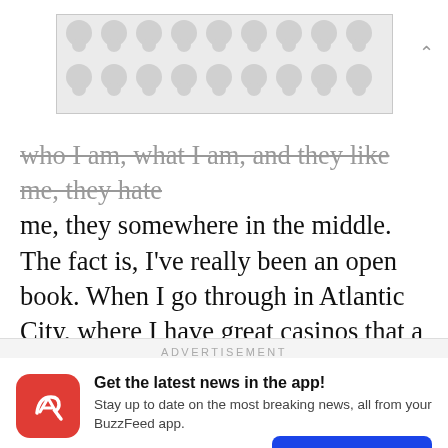[Figure (other): Advertisement banner placeholder with polka dot / map-pin pattern background, gray dots on light gray]
who I am, what I am, and they like me, they hate me, they somewhere in the middle. The fact is, I've really been an open book. When I go through in Atlantic City, where I have great casinos that a lot of the folks here go to all the time, because it's right down there.
ADVERTISEMENT
Get the latest news in the app! Stay up to date on the most breaking news, all from your BuzzFeed app.
Maybe later
Get the app